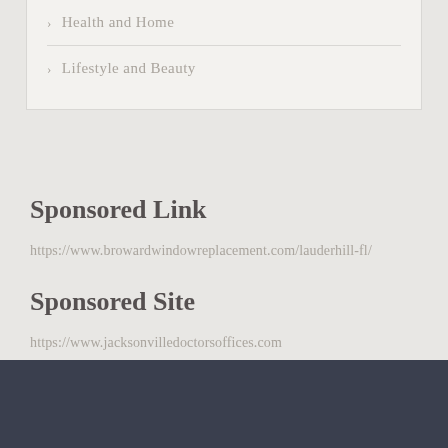Health and Home
Lifestyle and Beauty
Sponsored Link
https://www.browardwindowreplacement.com/lauderhill-fl/
Sponsored Site
https://www.jacksonvilledoctorsoffices.com